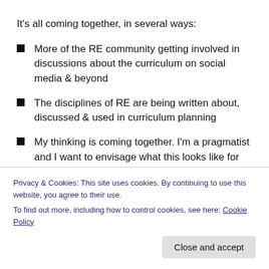It's all coming together, in several ways:
More of the RE community getting involved in discussions about the curriculum on social media & beyond
The disciplines of RE are being written about, discussed & used in curriculum planning
My thinking is coming together. I'm a pragmatist and I want to envisage what this looks like for RE teachers and HODs.
This blog is bringing together some of the blogs
Privacy & Cookies: This site uses cookies. By continuing to use this website, you agree to their use.
To find out more, including how to control cookies, see here: Cookie Policy